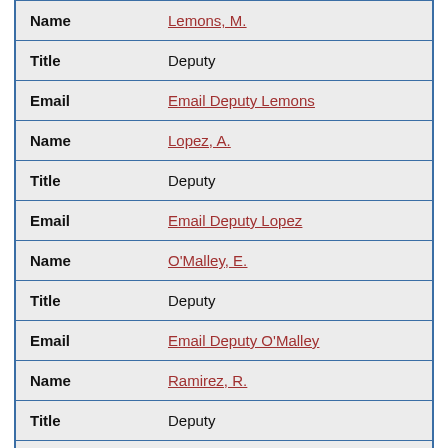| Field | Value |
| --- | --- |
| Name | Lemons, M. |
| Title | Deputy |
| Email | Email Deputy Lemons |
| Name | Lopez, A. |
| Title | Deputy |
| Email | Email Deputy Lopez |
| Name | O'Malley, E. |
| Title | Deputy |
| Email | Email Deputy O'Malley |
| Name | Ramirez, R. |
| Title | Deputy |
| Email | Email Deputy Ramirez |